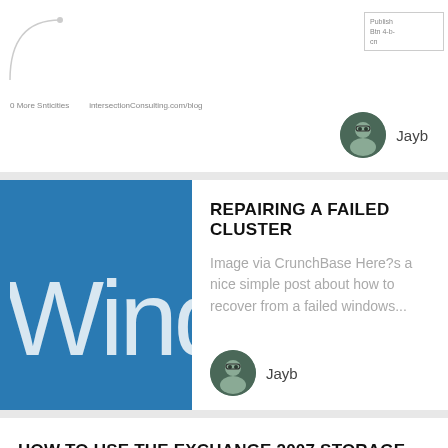[Figure (screenshot): Partial blog card showing mini text links and a circular avatar photo with author name Jayb]
Jayb
[Figure (screenshot): Blue square image with white text 'Wind' (partial Windows logo)]
REPAIRING A FAILED CLUSTER
Image via CrunchBase Here?s a nice simple post about how to recover from a failed windows...
Jayb
HOW TO USE THE EXCHANGE 2007 STORAGE COST CALUATOR
wow, the MS Exchange team blog has a great post on how-to use the Exchange Server 2007 Mailbox...